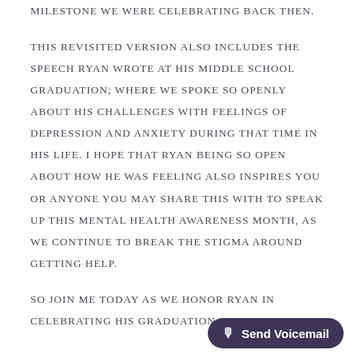milestone we were celebrating back then.

This revisited version also includes the speech Ryan wrote at his middle school graduation; where we spoke so openly about his challenges with feelings of depression and anxiety during that time in his life. I hope that Ryan being so open about how he was feeling also inspires you or anyone you may share this with to speak up this mental health awareness month, as we continue to break the stigma around getting help.

So join me today as we honor Ryan in celebrating his graduation a...